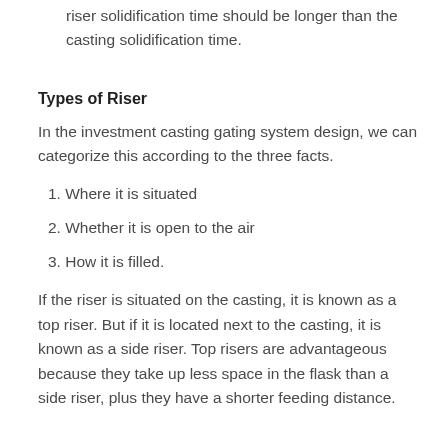riser solidification time should be longer than the casting solidification time.
Types of Riser
In the investment casting gating system design, we can categorize this according to the three facts.
1. Where it is situated
2. Whether it is open to the air
3. How it is filled.
If the riser is situated on the casting, it is known as a top riser. But if it is located next to the casting, it is known as a side riser. Top risers are advantageous because they take up less space in the flask than a side riser, plus they have a shorter feeding distance.